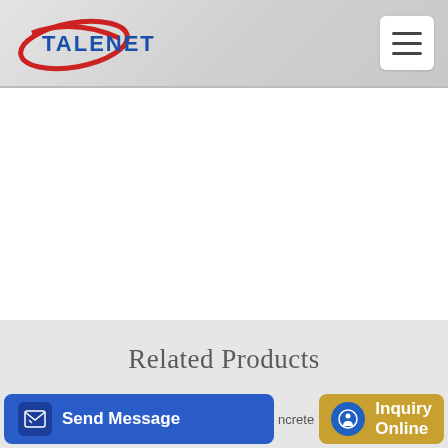[Figure (logo): Talenet logo with red oval swoosh and blue text reading TALENET]
[Figure (other): Hamburger menu button (three horizontal lines) in a white rounded square]
Related Products
mobile concrete batching plant yconcrete mixing plant price
Marketing Opportunities CPAA The Concrete Pumping
Send Message
Inquiry Online